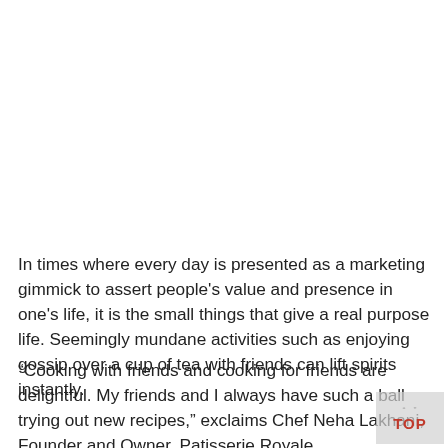In times where every day is presented as a marketing gimmick to assert people's value and presence in one's life, it is the small things that give a real purpose life. Seemingly mundane activities such as enjoying gossip over a cup of tea with friends can lift spirits instantly.
“Cooking with friends and cooking for friends are delightful. My friends and I always have such a ball trying out new recipes,” exclaims Chef Neha Lakhani, Founder and Owner, Patisserie Royale